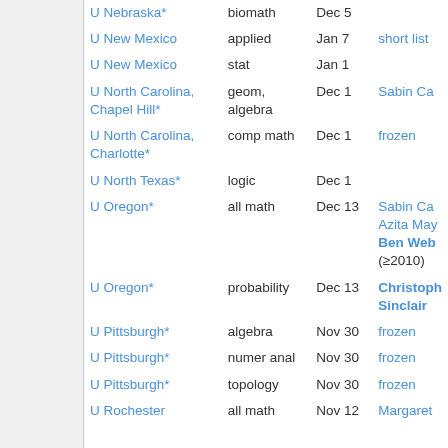| Institution | Area | Deadline | Notes |
| --- | --- | --- | --- |
| U Nebraska* | biomath | Dec 5 |  |
| U New Mexico | applied | Jan 7 | short list |
| U New Mexico | stat | Jan 1 |  |
| U North Carolina, Chapel Hill* | geom, algebra | Dec 1 | Sabin Ca... |
| U North Carolina, Charlotte* | comp math | Dec 1 | frozen |
| U North Texas* | logic | Dec 1 |  |
| U Oregon* | all math | Dec 13 | Sabin Ca... Azita May... Ben Web... (≥2010) |
| U Oregon* | probability | Dec 13 | Christoph... Sinclair |
| U Pittsburgh* | algebra | Nov 30 | frozen |
| U Pittsburgh* | numer anal | Nov 30 | frozen |
| U Pittsburgh* | topology | Nov 30 | frozen |
| U Rochester | all math | Nov 12 | Margaret... |